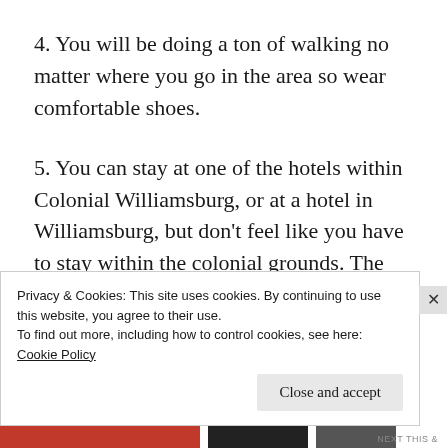4. You will be doing a ton of walking no matter where you go in the area so wear comfortable shoes.
5. You can stay at one of the hotels within Colonial Williamsburg, or at a hotel in Williamsburg, but don't feel like you have to stay within the colonial grounds. The hotel where we stayed was less than a five minute
Privacy & Cookies: This site uses cookies. By continuing to use this website, you agree to their use.
To find out more, including how to control cookies, see here:
Cookie Policy
Close and accept